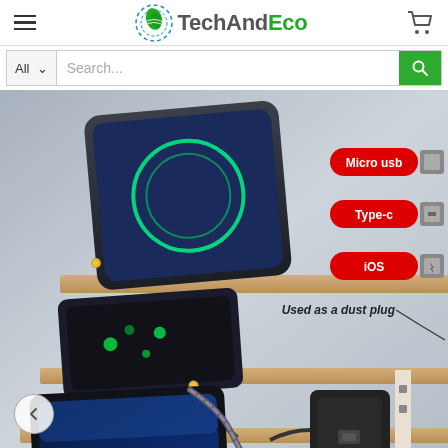TechAndEco — navigation header with hamburger menu, logo, and cart icon
Search bar with All dropdown and search input
[Figure (photo): Product photo of magnetic charging cable with Micro USB, Type-C, and iOS connector tips shown with red labels. Text annotation reads 'Used as a dust plug'. Multiple phones shown charging on wooden surface with USB power adapter.]